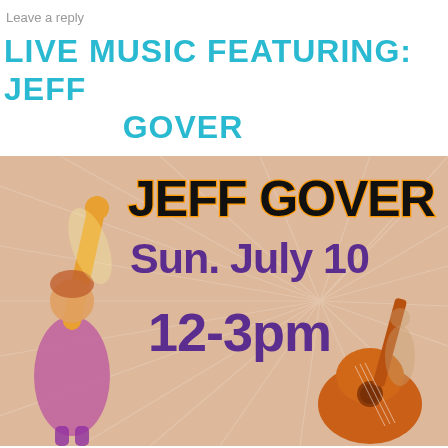Leave a reply
LIVE MUSIC FEATURING: JEFF GOVER
[Figure (illustration): Event poster for Jeff Gover live music performance. Features a colorful illustrated background with a performer raising their arm and a guitar visible. Bold text reads: JEFF GOVER, Sun. July 10, 12-3pm. Jeff Gover text has orange outline, date and time text is purple/dark purple.]